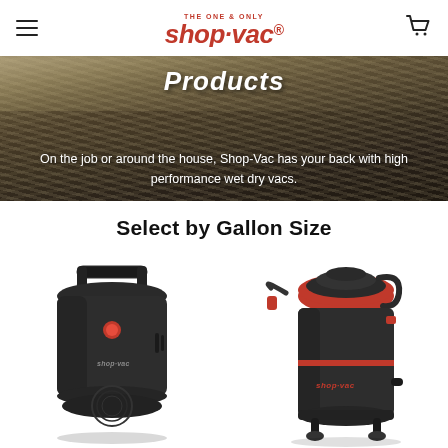Shop-Vac (THE ONE & ONLY) — navigation header with hamburger menu and cart icon
[Figure (photo): Hero banner showing wood shavings on dark surface with text 'Products' as heading and 'On the job or around the house, Shop-Vac has your back with high performance wet dry vacs.' as subtitle]
Select by Gallon Size
[Figure (photo): Small Shop-Vac wet dry vacuum (compact, dark grey/black with handle on top and red button)]
[Figure (photo): Larger Shop-Vac wet dry vacuum (tall canister style, dark grey/black with red accents, shop-vac branding visible)]